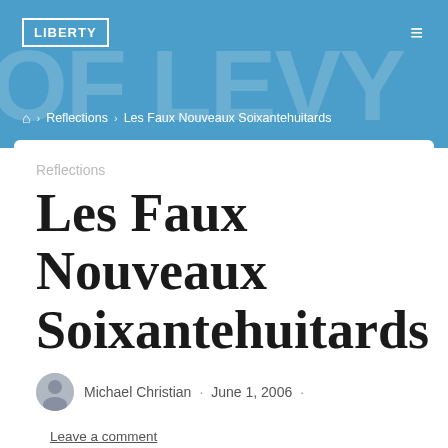LIBERTY
🏠 › Reflections › Les Faux Nouveaux Soixantehuitards
Reflections
Les Faux Nouveaux Soixantehuitards
Michael Christian · June 1, 2006 ·
Leave a comment